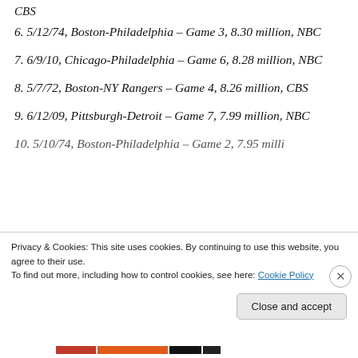6. 5/12/74, Boston-Philadelphia – Game 3, 8.30 million, NBC
7. 6/9/10, Chicago-Philadelphia – Game 6, 8.28 million, NBC
8. 5/7/72, Boston-NY Rangers – Game 4, 8.26 million, CBS
9. 6/12/09, Pittsburgh-Detroit – Game 7, 7.99 million, NBC
10. 5/10/74, Boston-Philadelphia – Game 2, 7.95 milli…
Privacy & Cookies: This site uses cookies. By continuing to use this website, you agree to their use. To find out more, including how to control cookies, see here: Cookie Policy
Close and accept